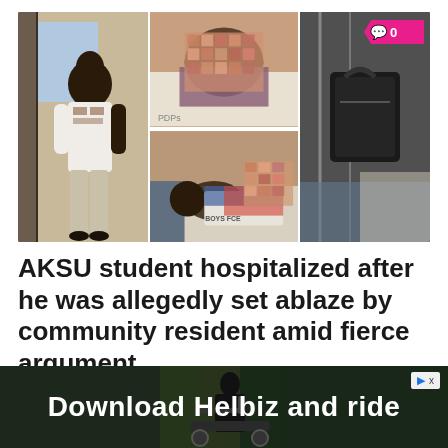[Figure (photo): Collage of 4 images: left shows a young man in white traditional attire standing in a doorway; top-middle shows a person with blurred/pixelated injuries in a hospital bed; bottom-middle shows another patient with blurred injuries; right shows a dark interior scene possibly a vehicle or room. Pink comment badge showing '0' in top-right corner.]
AKSU student hospitalized after he was allegedly set ablaze by community resident amid fierce argument
[Figure (photo): Advertisement banner: 'Download Helbiz and ride' with a person holding an electric scooter in background.]